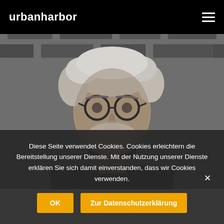urbanharbor
[Figure (photo): Black and white portrait photo of an older man with grey hair, round glasses, black turtleneck, arms crossed, brick wall background]
Diese Seite verwendet Cookies. Cookies erleichtern die Bereitstellung unserer Dienste. Mit der Nutzung unserer Dienste erklären Sie sich damit einverstanden, dass wir Cookies verwenden.
OK
Zur Datenschutzerklärung